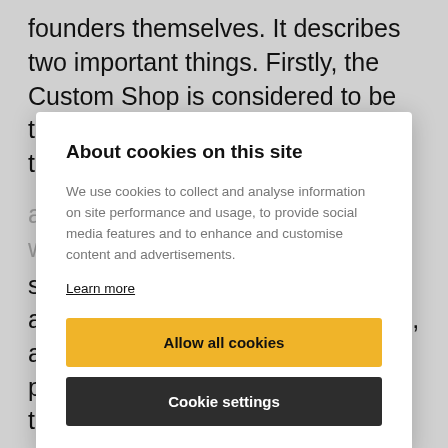founders themselves. It describes two important things. Firstly, the Custom Shop is considered to be the imaginary jewel of Fender. In the words of the
About cookies on this site
We use cookies to collect and analyse information on site performance and usage, to provide social media features and to enhance and customise content and advertisements.
Learn more
Allow all cookies
Cookie settings
stopped me. 'Sir, do you have an appointment?' I gave her my name, and she said, 'Oh, you get more phone calls than everyone else in the office